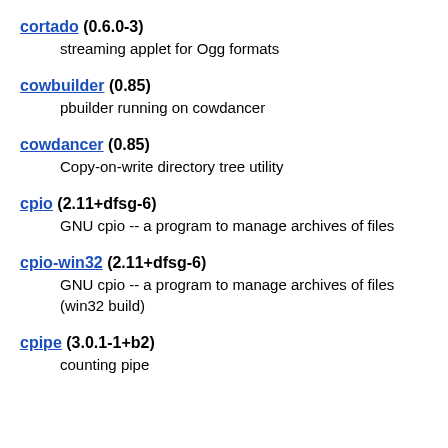cortado (0.6.0-3)
    streaming applet for Ogg formats
cowbuilder (0.85)
    pbuilder running on cowdancer
cowdancer (0.85)
    Copy-on-write directory tree utility
cpio (2.11+dfsg-6)
    GNU cpio -- a program to manage archives of files
cpio-win32 (2.11+dfsg-6)
    GNU cpio -- a program to manage archives of files
    (win32 build)
cpipe (3.0.1-1+b2)
    counting pipe